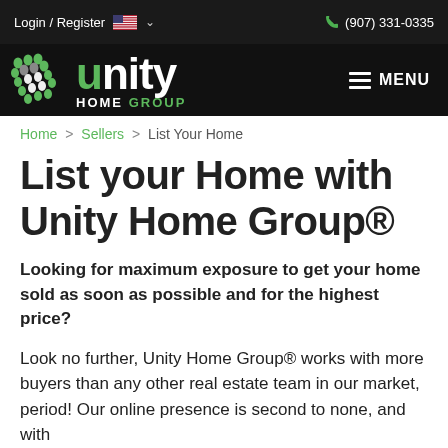Login / Register   🇺🇸 ∨   (907) 331-0335
[Figure (logo): Unity Home Group logo with dot-grid icon and unity wordmark in white with green 'u', HOME GROUP text in white and green]
Home > Sellers > List Your Home
List your Home with Unity Home Group®
Looking for maximum exposure to get your home sold as soon as possible and for the highest price?
Look no further, Unity Home Group® works with more buyers than any other real estate team in our market, period! Our online presence is second to none, and with